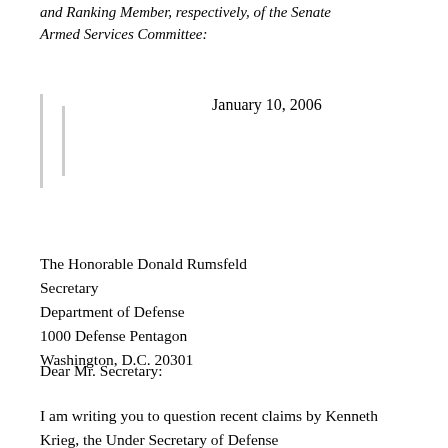and Ranking Member, respectively, of the Senate Armed Services Committee:
January 10, 2006
The Honorable Donald Rumsfeld
Secretary
Department of Defense
1000 Defense Pentagon
Washington, D.C. 20301
Dear Mr. Secretary:
I am writing you to question recent claims by Kenneth Krieg, the Under Secretary of Defense